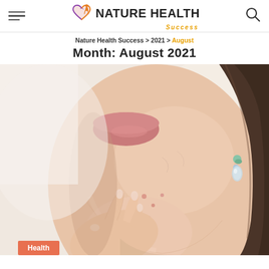Nature Health Success
Nature Health Success > 2021 > August
Month: August 2021
[Figure (photo): Close-up photo of a woman's chin and cheek area showing acne/blemishes, with her hand raised to her chin. She is wearing a decorative drop earring with green and clear stones. Her dark hair is visible on the right side.]
Health